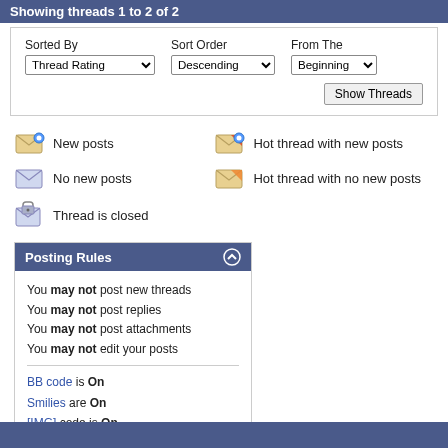Showing threads 1 to 2 of 2
Sorted By: Thread Rating | Sort Order: Descending | From The: Beginning
New posts
Hot thread with new posts
No new posts
Hot thread with no new posts
Thread is closed
Posting Rules
You may not post new threads
You may not post replies
You may not post attachments
You may not edit your posts
BB code is On
Smilies are On
[IMG] code is On
HTML code is Off
Forum Rules